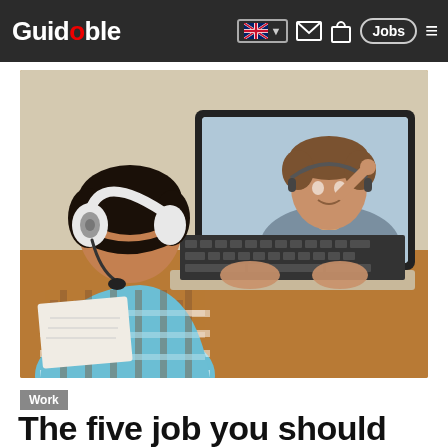Guidable — navigation bar with language selector, mail, bag, Jobs, menu icons
[Figure (photo): A child wearing white headphones and holding a microphone sits at a desk in front of a laptop, on whose screen a smiling young man with a headset is visible during a video call.]
Work
The five job you should apply